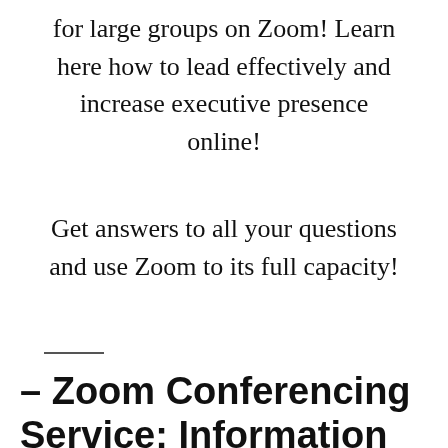for large groups on Zoom! Learn here how to lead effectively and increase executive presence online!
Get answers to all your questions and use Zoom to its full capacity!
– Zoom Conferencing Service: Information